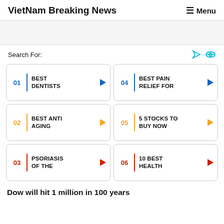VietNam Breaking News   ≡ Menu
Search For:
01 BEST DENTISTS
04 BEST PAIN RELIEF FOR
02 BEST ANTI AGING
05 5 STOCKS TO BUY NOW
03 PSORIASIS OF THE
06 10 BEST HEALTH
Dow will hit 1 million in 100 years